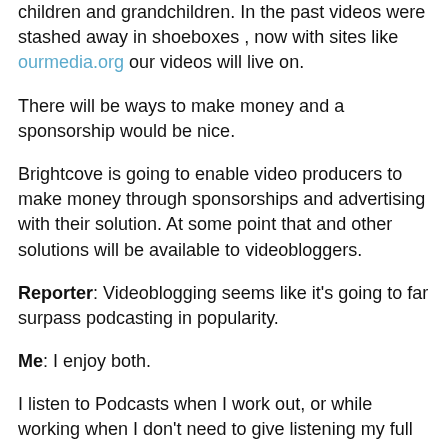children and grandchildren. In the past videos were stashed away in shoeboxes , now with sites like ourmedia.org our videos will live on.
There will be ways to make money and a sponsorship would be nice.
Brightcove is going to enable video producers to make money through sponsorships and advertising with their solution. At some point that and other solutions will be available to videobloggers.
Reporter: Videoblogging seems like it's going to far surpass podcasting in popularity.
Me: I enjoy both.
I listen to Podcasts when I work out, or while working when I don't need to give listening my full attention. I watch Videoblogs on the computer or on Akimbo on my TV.